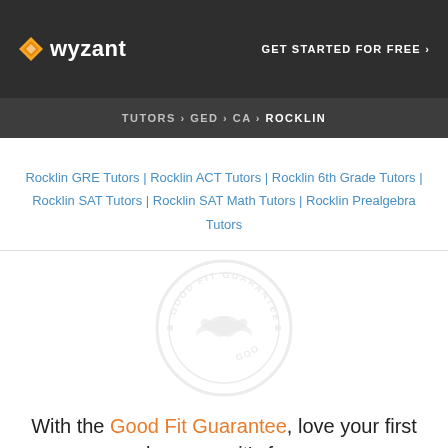wyzant | GET STARTED FOR FREE ›
TUTORS › GED › CA › ROCKLIN
Rocklin GRE Tutors | Rocklin ACT Tutors | Rocklin 6th Grade Tutors | Rocklin SAT Tutors | Rocklin SAT Math Tutors | Rocklin Prealgebra Tutors
[Figure (illustration): Good Fit Guarantee circular badge/seal watermark in light gray]
With the Good Fit Guarantee, love your first lesson, or it's free